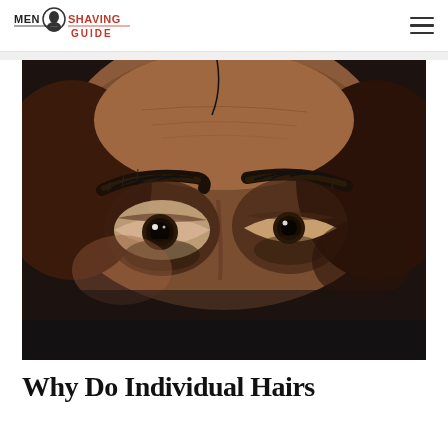Men Shaving Guide
[Figure (photo): Close-up photo of a man's eyes and eyebrows with dark eyebrows, dark eyes, and visible skin texture against a dark background]
Why Do Individual Hairs